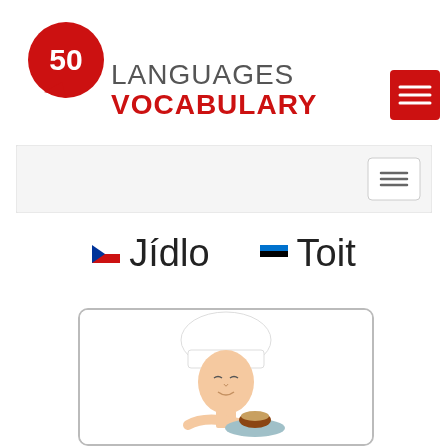[Figure (logo): 50 Languages Vocabulary logo with red speech bubble containing '50', followed by 'LANGUAGES' in gray and 'VOCABULARY' in bold red, plus a red menu button]
[Figure (screenshot): Navigation bar with hamburger menu button on the right]
Jídlo   Toit
[Figure (photo): Photo of a woman in a chef's hat holding a plate with a burger/cupcake, eyes closed, smelling the food]